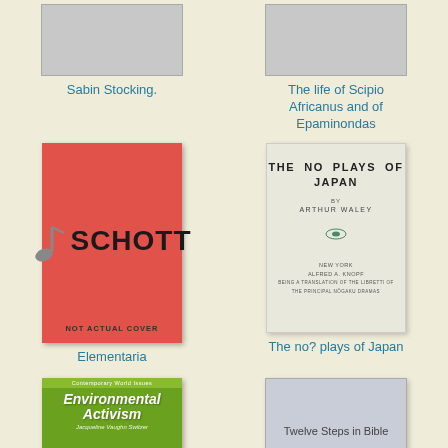[Figure (photo): Gray placeholder book cover for Sabin Stocking]
Sabin Stocking.
[Figure (photo): Gray placeholder book cover for The life of Scipio Africanus and of Epaminondas]
The life of Scipio Africanus and of Epaminondas
[Figure (photo): Red Schott music publisher placeholder cover with musical note and text NOT ACTUAL COVER]
Elementaria
[Figure (photo): Antique book cover for The No Plays of Japan by Arthur Waley, published by Alfred A. Knopf]
The no? plays of Japan
[Figure (photo): Environmental Activism book cover with green background, Contemporary World Issues series]
[Figure (photo): Gray placeholder cover with text Twelve Steps in Bible]